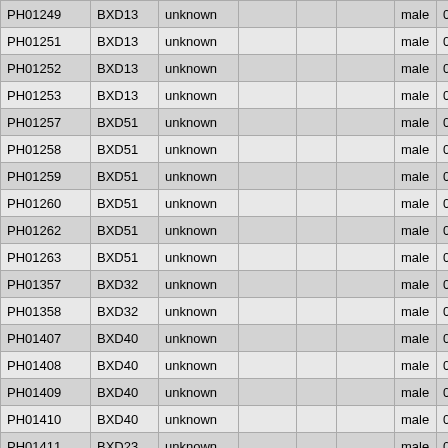| PH01249 | BXD13 | unknown |  |  |  | male | 00-00- |
| PH01251 | BXD13 | unknown |  |  |  | male | 00-00- |
| PH01252 | BXD13 | unknown |  |  |  | male | 00-00- |
| PH01253 | BXD13 | unknown |  |  |  | male | 00-00- |
| PH01257 | BXD51 | unknown |  |  |  | male | 00-00- |
| PH01258 | BXD51 | unknown |  |  |  | male | 00-00- |
| PH01259 | BXD51 | unknown |  |  |  | male | 00-00- |
| PH01260 | BXD51 | unknown |  |  |  | male | 00-00- |
| PH01262 | BXD51 | unknown |  |  |  | male | 00-00- |
| PH01263 | BXD51 | unknown |  |  |  | male | 00-00- |
| PH01357 | BXD32 | unknown |  |  |  | male | 00-00- |
| PH01358 | BXD32 | unknown |  |  |  | male | 00-00- |
| PH01407 | BXD40 | unknown |  |  |  | male | 00-00- |
| PH01408 | BXD40 | unknown |  |  |  | male | 00-00- |
| PH01409 | BXD40 | unknown |  |  |  | male | 00-00- |
| PH01410 | BXD40 | unknown |  |  |  | male | 00-00- |
| PH01411 | BXD23 | unknown |  |  |  | male | 00-00- |